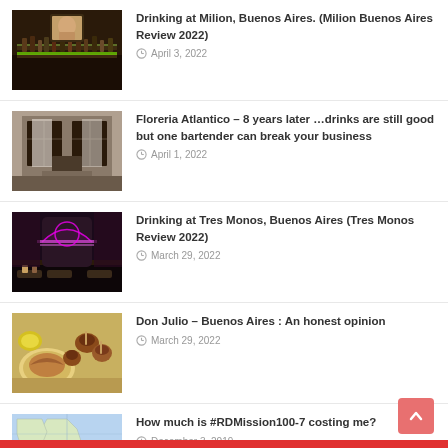Drinking at Milion, Buenos Aires. (Milion Buenos Aires Review 2022)
Floreria Atlantico – 8 years later …drinks are still good but one bartender can break your business
Drinking at Tres Monos, Buenos Aires (Tres Monos Review 2022)
Don Julio – Buenos Aires : An honest opinion
How much is #RDMission100-7 costing me?